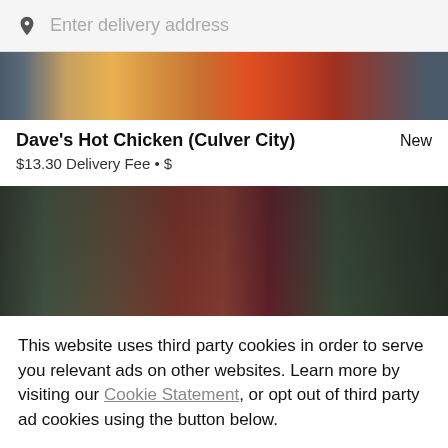[Figure (screenshot): Search bar with location pin icon and placeholder text 'Enter delivery address' on grey background]
[Figure (photo): Top portion of food delivery app showing hot chicken food image in warm orange and red tones]
Dave's Hot Chicken (Culver City)   New
$13.30 Delivery Fee • $
[Figure (photo): Partially visible food image showing berries, strawberries and blueberries in bowls with dark overlay]
This website uses third party cookies in order to serve you relevant ads on other websites. Learn more by visiting our Cookie Statement, or opt out of third party ad cookies using the button below.
OPT OUT
GOT IT